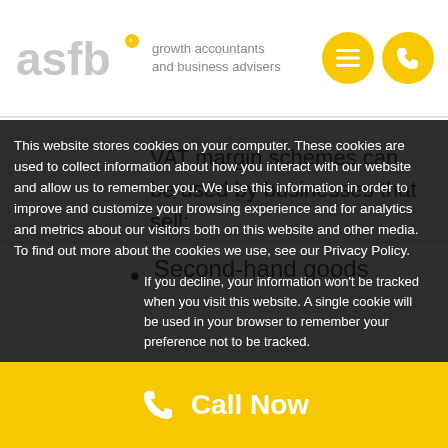[Figure (logo): ASFB growth accountants and business advisers logo with yellow circular icon and grey text]
VAT margin schemes can be used by businesses that sell:
Second-hand goods
This website stores cookies on your computer. These cookies are used to collect information about how you interact with our website and allow us to remember you. We use this information in order to improve and customize your browsing experience and for analytics and metrics about our visitors both on this website and other media. To find out more about the cookies we use, see our Privacy Policy.
If you decline, your information won't be tracked when you visit this website. A single cookie will be used in your browser to remember your preference not to be tracked.
Call Now